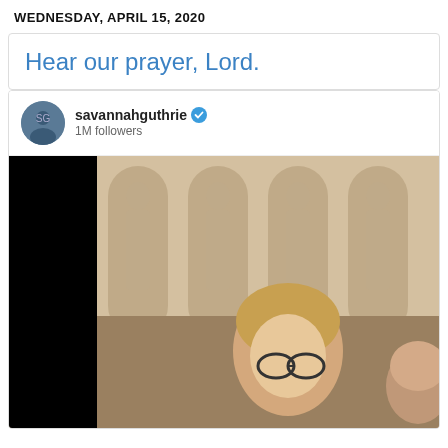WEDNESDAY, APRIL 15, 2020
Hear our prayer, Lord.
[Figure (screenshot): Instagram post by savannahguthrie (1M followers) showing a photo of a blonde woman with glasses in front of a cathedral with stone statues, alongside a bald man. Left side of photo has a black bar.]